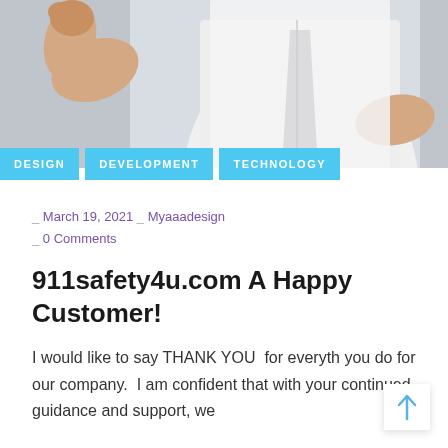[Figure (photo): A man in a white dress shirt and dark tie with arms raised/bent, photographed from neck down, against a gray background.]
DESIGN
DEVELOPMENT
TECHNOLOGY
_ March 19, 2021 _ Myaaadesign _ 0 Comments
911safety4u.com A Happy Customer!
I would like to say THANK YOU  for everyth you do for our company.  I am confident that with your continued guidance and support, we